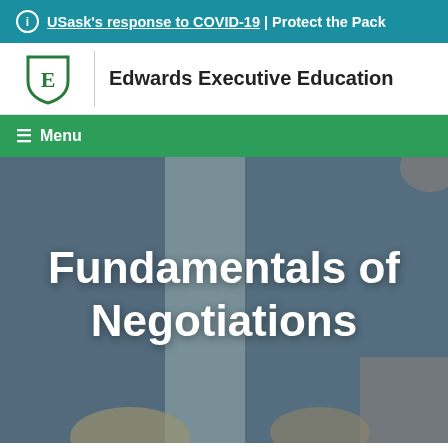USask's response to COVID-19 | Protect the Pack
[Figure (logo): Edwards Executive Education shield logo with stylized E]
Edwards Executive Education
≡ Menu
[Figure (photo): Background photo of people in a business meeting or negotiation setting]
Fundamentals of Negotiations